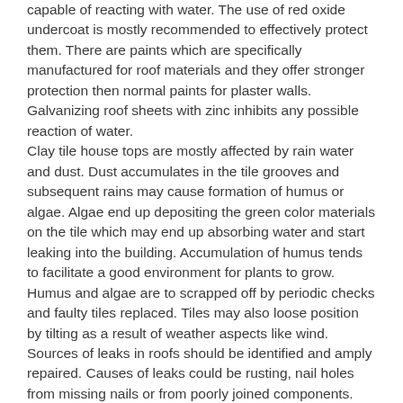capable of reacting with water. The use of red oxide undercoat is mostly recommended to effectively protect them. There are paints which are specifically manufactured for roof materials and they offer stronger protection then normal paints for plaster walls. Galvanizing roof sheets with zinc inhibits any possible reaction of water. Clay tile house tops are mostly affected by rain water and dust. Dust accumulates in the tile grooves and subsequent rains may cause formation of humus or algae. Algae end up depositing the green color materials on the tile which may end up absorbing water and start leaking into the building. Accumulation of humus tends to facilitate a good environment for plants to grow. Humus and algae are to scrapped off by periodic checks and faulty tiles replaced. Tiles may also loose position by tilting as a result of weather aspects like wind. Sources of leaks in roofs should be identified and amply repaired. Causes of leaks could be rusting, nail holes from missing nails or from poorly joined components. The leaks are best checked from the interior of a roof. Fixing the leaks depends on the type of material that